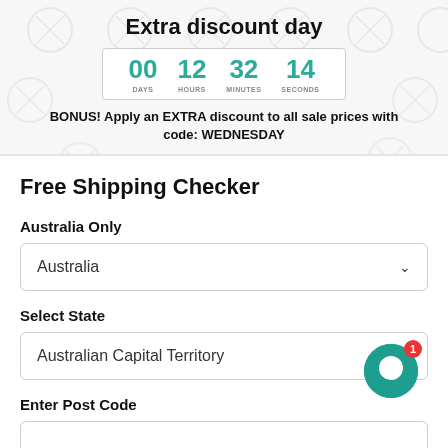Extra discount day
[Figure (infographic): Countdown timer showing 00 DAYS, 12 HOURS, 32 MINUTES, 14 SECONDS in teal/green digits inside a bordered box]
BONUS! Apply an EXTRA discount to all sale prices with code: WEDNESDAY
Free Shipping Checker
Australia Only
Australia
Select State
Australian Capital Territory
Enter Post Code